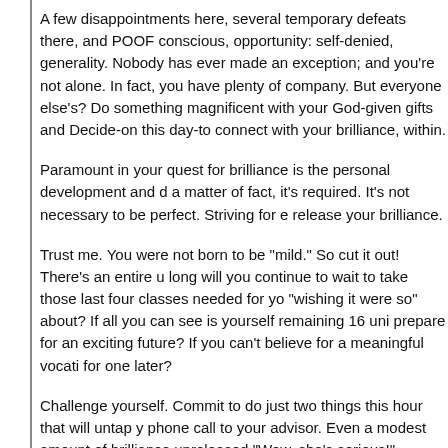A few disappointments here, several temporary defeats there, and POOR conscious, opportunity: self-denied, generality. Nobody has ever made an exception; and you're not alone. In fact, you have plenty of company. But everyone else's? Do something magnificent with your God-given gifts and Decide-on this day-to connect with your brilliance, within.
Paramount in your quest for brilliance is the personal development and d a matter of fact, it's required. It's not necessary to be perfect. Striving for e release your brilliance.
Trust me. You were not born to be "mild." So cut it out! There's an entire u long will you continue to wait to take those last four classes needed for yo "wishing it were so" about? If all you can see is yourself remaining 16 uni prepare for an exciting future? If you can't believe for a meaningful vocati for one later?
Challenge yourself. Commit to do just two things this hour that will untap y phone call to your advisor. Even a modest amount of brilliance unreleased "Wow, she's serious!"
Ignite your passion. Inhale, then excel. Stand and deliver! See, then be!
Your life matters. Visualize your brilliance totally released. Then boldly, st